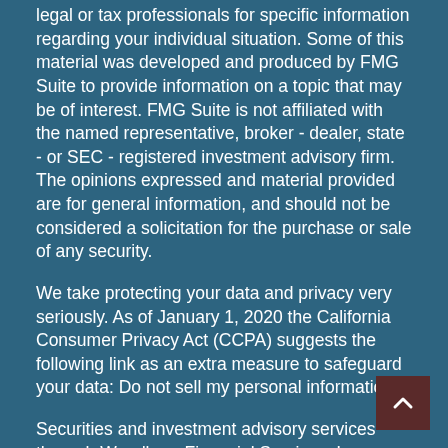legal or tax professionals for specific information regarding your individual situation. Some of this material was developed and produced by FMG Suite to provide information on a topic that may be of interest. FMG Suite is not affiliated with the named representative, broker - dealer, state - or SEC - registered investment advisory firm. The opinions expressed and material provided are for general information, and should not be considered a solicitation for the purchase or sale of any security.
We take protecting your data and privacy very seriously. As of January 1, 2020 the California Consumer Privacy Act (CCPA) suggests the following link as an extra measure to safeguard your data: Do not sell my personal information.
Securities and investment advisory services through Woodbury Financial Services, Inc., Member FINRA/SIPC and registered investment advisor. Fixed and traditional insurance offered through Wayne Christian Financial Services, which is not affiliated with Woodbury Financial